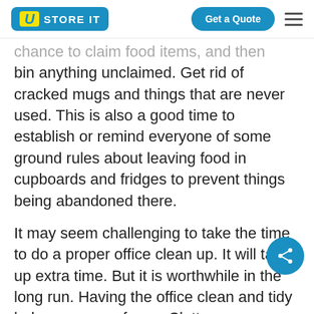U STORE IT | Get a Quote
chance to claim food items, and then bin anything unclaimed. Get rid of cracked mugs and things that are never used. This is also a good time to establish or remind everyone of some ground rules about leaving food in cupboards and fridges to prevent things being abandoned there.
It may seem challenging to take the time to do a proper office clean up. It will take up extra time. But it is worthwhile in the long run. Having the office clean and tidy helps everyone focus. Clutter causes stress. So why not trash or recycle what you can and put those inactive files into storage to